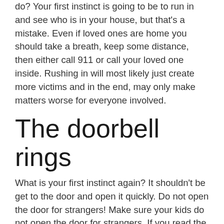do? Your first instinct is going to be to run in and see who is in your house, but that's a mistake. Even if loved ones are home you should take a breath, keep some distance, then either call 911 or call your loved one inside. Rushing in will most likely just create more victims and in the end, may only make matters worse for everyone involved.
The doorbell rings
What is your first instinct again? It shouldn't be get to the door and open it quickly. Do not open the door for strangers! Make sure your kids do not open the door for strangers. If you read the newspaper articles about home invasions you will most often see a phrase similar to “forced their way in.” Most often, this is just a nice way to say that someone